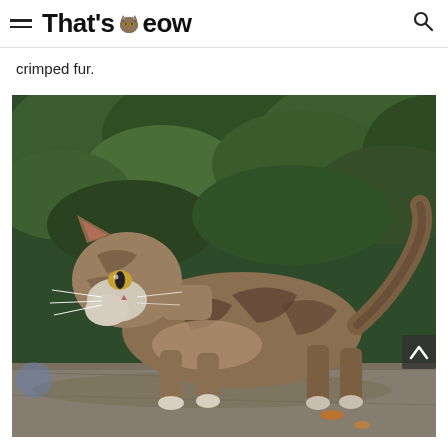That'sMeow
crimped fur.
[Figure (photo): A tabby cat with brown and black striped fur standing on a stone surface outdoors, with green foliage in the background. The cat is in profile, facing left, with white paws and long whiskers. Its tail is raised. There is a scroll-up button overlay on the right side of the image.]